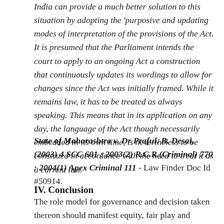India can provide a much better solution to this situation by adopting the 'purposive and updating modes of interpretation of the provisions of the Act. It is presumed that the Parliament intends the court to apply to an ongoing Act a construction that continuously updates its wordings to allow for changes since the Act was initially framed. While it remains law, it has to be treated as always speaking. This means that in its application on any day, the language of the Act though necessarily embedded in its own time, is nevertheless to be construed in accordance with the need to treat it as a current law.
State of Maharashtra v. Dr Praful. B. Desai, (2003) 4 SCC 601 : 2003(2) R.C.R.(Criminal) 770 : 2004(1) Apex Criminal 111 - Law Finder Doc Id #50914.
IV. Conclusion
The role model for governance and decision taken thereon should manifest equity, fair play and justice. The media has to be of governance...